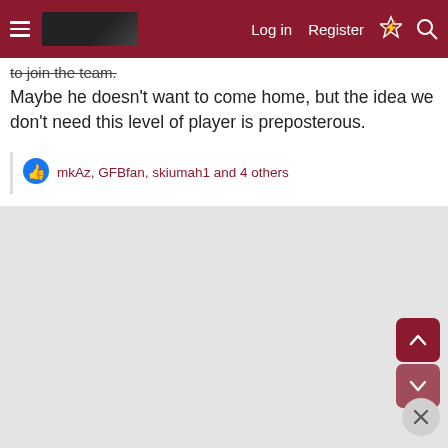Log in  Register
to join the team.
Maybe he doesn't want to come home, but the idea we don't need this level of player is preposterous.
mkAz, GFBfan, skiumah1 and 4 others